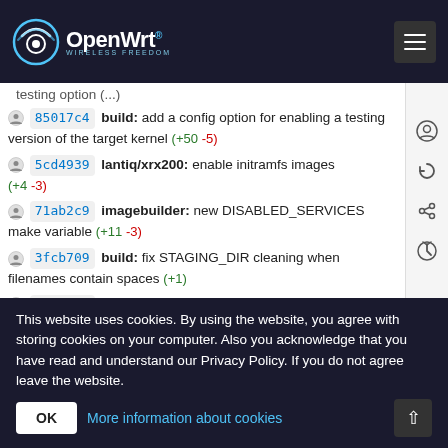OpenWrt
testing option (...)
85017c4 build: add a config option for enabling a testing version of the target kernel (+50 -5)
5cd4939 lantiq/xrx200: enable initramfs images (+4 -3)
71ab2c9 imagebuilder: new DISABLED_SERVICES make variable (+11 -3)
3fcb709 build: fix STAGING_DIR cleaning when filenames contain spaces (+1)
80f861e build: add UBOOT_PATH to DEFAULT_DEVICE_VARS and set a default (+3 -1)
a41f474 build: add support to && in DEPENDS (+20 -3)
94464cf build: fix external module symbol collection if
This website uses cookies. By using the website, you agree with storing cookies on your computer. Also you acknowledge that you have read and understand our Privacy Policy. If you do not agree leave the website.